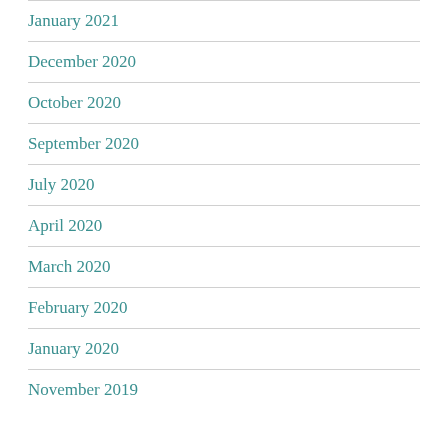January 2021
December 2020
October 2020
September 2020
July 2020
April 2020
March 2020
February 2020
January 2020
November 2019